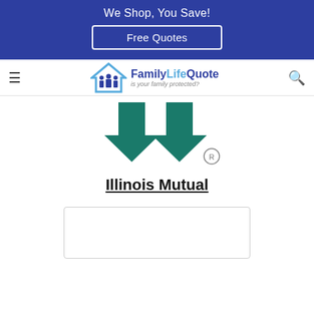We Shop, You Save!
Free Quotes
[Figure (logo): FamilyLifeQuote logo with house icon and tagline 'is your family protected?']
[Figure (logo): Illinois Mutual logo with two teal downward-pointing arrows and registered trademark symbol]
Illinois Mutual
[Figure (other): Empty white card/box at bottom of page]